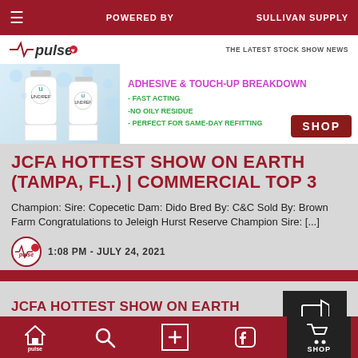POWERED BY  SULLIVAN SUPPLY
[Figure (logo): Pulse logo with heartbeat icon and text 'pulse', tagline 'THE LATEST STOCK SHOW NEWS']
[Figure (advertisement): Sullivan Supply ad: ADHESIVE & TOUCH-UP BREAKDOWN - FAST ACTING - NO OILY RESIDUE - PERFECT FOR SAME-DAY REFITTING. SHOP button. Shows product bottles.]
JCFA HOTTEST SHOW ON EARTH (TAMPA, FL.) | COMMERCIAL TOP 3
Champion: Sire: Copecetic Dam: Dido Bred By: C&C Sold By: Brown Farm Congratulations to Jeleigh Hurst Reserve Champion Sire: [...]
1:08 PM - JULY 24, 2021
JCFA HOTTEST SHOW ON EARTH (TAMPA,
Home | Search | + | Facebook | SHOP